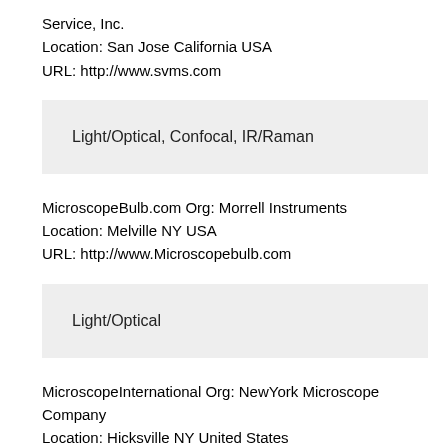Service, Inc.
Location: San Jose California USA
URL: http://www.svms.com
Light/Optical, Confocal, IR/Raman
MicroscopeBulb.com Org: Morrell Instruments
Location: Melville NY USA
URL: http://www.Microscopebulb.com
Light/Optical
MicroscopeInternational Org: NewYork Microscope Company
Location: Hicksville NY United States
URL: https://www.microscopeinternational.com/